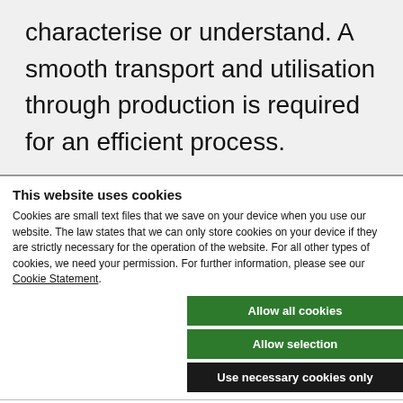characterise or understand. A smooth transport and utilisation through production is required for an efficient process.
This website uses cookies
Cookies are small text files that we save on your device when you use our website. The law states that we can only store cookies on your device if they are strictly necessary for the operation of the website. For all other types of cookies, we need your permission. For further information, please see our Cookie Statement.
Allow all cookies
Allow selection
Use necessary cookies only
Necessary
Preferences
Statistics
Marketing
Show details